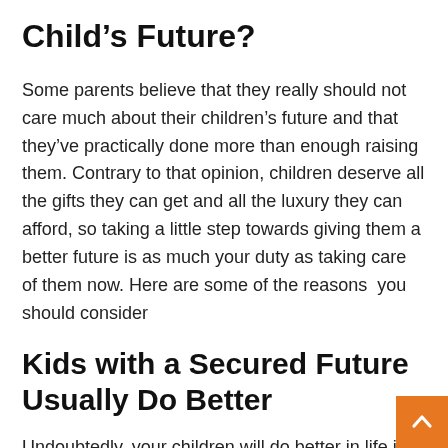Child’s Future?
Some parents believe that they really should not care much about their children’s future and that they’ve practically done more than enough raising them. Contrary to that opinion, children deserve all the gifts they can get and all the luxury they can afford, so taking a little step towards giving them a better future is as much your duty as taking care of them now. Here are some of the reasons  you should consider
Kids with a Secured Future Usually Do Better
Undoubtedly, your children will do better in life if yo